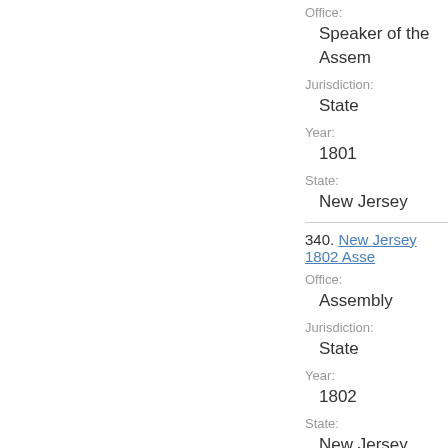Office:
Speaker of the Assem...
Jurisdiction:
State
Year:
1801
State:
New Jersey
340. New Jersey 1802 Asse...
Office:
Assembly
Jurisdiction:
State
Year:
1802
State:
New Jersey